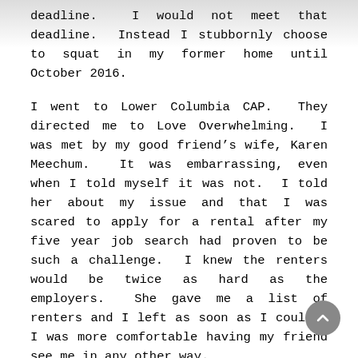deadline.  I would not meet that deadline.  Instead I stubbornly choose to squat in my former home until October 2016.
I went to Lower Columbia CAP.  They directed me to Love Overwhelming.  I was met by my good friend’s wife, Karen Meechum.  It was embarrassing, even when I told myself it was not.  I told her about my issue and that I was scared to apply for a rental after my five year job search had proven to be such a challenge.  I knew the renters would be twice as hard as the employers.  She gave me a list of renters and I left as soon as I could.  I was more comfortable having my friend see me in any other way.
I did not find a renter who would allow me into one of their properties.  I tried every agency in town.  Most state on the front page of their applications that all sex offenders will be denied.  I tried Craigslist.  I was directed to the Pawn Shop on 1303 Commerce Ave through the Northwest Housing Resource website.  I was specifically told there was an open